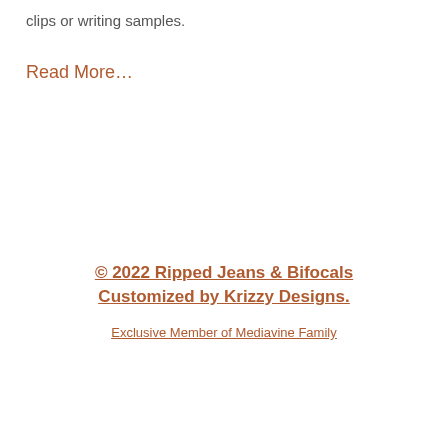clips or writing samples.
Read More…
© 2022 Ripped Jeans & Bifocals Customized by Krizzy Designs. Exclusive Member of Mediavine Family